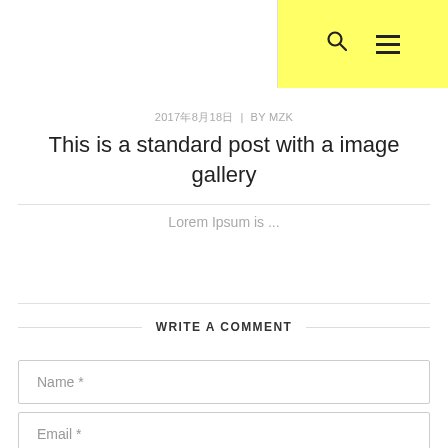Search | Menu
2017年8月18日 | BY MZK
This is a standard post with a image gallery
Lorem Ipsum is ...
WRITE A COMMENT
Name *
Email *